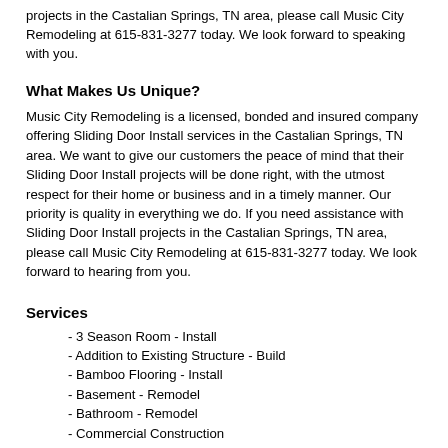projects in the Castalian Springs, TN area, please call Music City Remodeling at 615-831-3277 today. We look forward to speaking with you.
What Makes Us Unique?
Music City Remodeling is a licensed, bonded and insured company offering Sliding Door Install services in the Castalian Springs, TN area. We want to give our customers the peace of mind that their Sliding Door Install projects will be done right, with the utmost respect for their home or business and in a timely manner. Our priority is quality in everything we do. If you need assistance with Sliding Door Install projects in the Castalian Springs, TN area, please call Music City Remodeling at 615-831-3277 today. We look forward to hearing from you.
Services
- 3 Season Room - Install
- Addition to Existing Structure - Build
- Bamboo Flooring - Install
- Basement - Remodel
- Bathroom - Remodel
- Commercial Construction
- Copper Gutters - Install
- Deck - Design